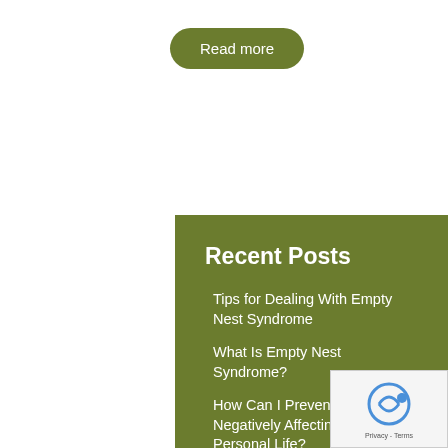Read more
Recent Posts
Tips for Dealing With Empty Nest Syndrome
What Is Empty Nest Syndrome?
How Can I Prevent Work From Negatively Affecting My Personal Life?
Nine Ways to Cope with Stress Better
Is There Something Wrong With Our Relationship If...